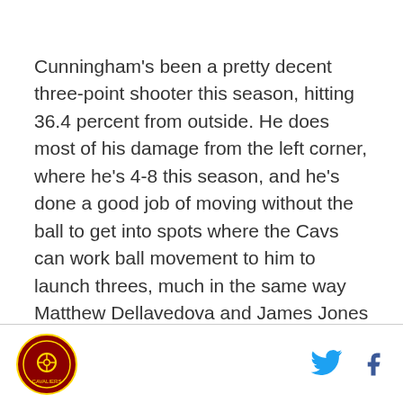Cunningham's been a pretty decent three-point shooter this season, hitting 36.4 percent from outside. He does most of his damage from the left corner, where he's 4-8 this season, and he's done a good job of moving without the ball to get into spots where the Cavs can work ball movement to him to launch threes, much in the same way Matthew Dellavedova and James Jones do. He's done most of his work from three in first half minutes, as well, saving his mid-range fooling around and off-the-dribble work in garbage time in second halves. Minutes in the rotation and in the normal flow of